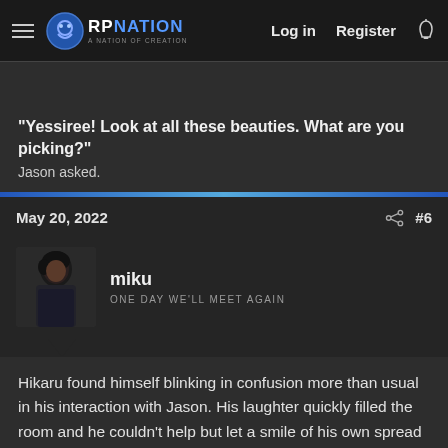RP NATION — Log in | Register
"Yessiree! Look at all these beauties. What are you picking?" Jason asked.
May 20, 2022  #6
miku
ONE DAY WE'LL MEET AGAIN
Hikaru found himself blinking in confusion more than usual in his interaction with Jason. His laughter quickly filled the room and he couldn't help but let a smile of his own spread across his lips. "Sounds like a plan," his voice a bit warmer and less practiced than earlier. Another smile found its way to Hikaru's face as he watched Jason struggled to stand and